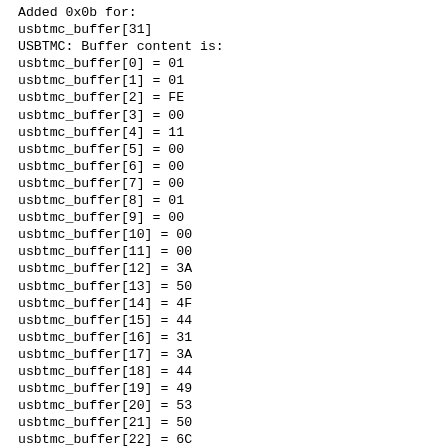Added 0x0b for:
usbtmc_buffer[31]
USBTMC: Buffer content is:
usbtmc_buffer[0] = 01
usbtmc_buffer[1] = 01
usbtmc_buffer[2] = FE
usbtmc_buffer[3] = 00
usbtmc_buffer[4] = 11
usbtmc_buffer[5] = 00
usbtmc_buffer[6] = 00
usbtmc_buffer[7] = 00
usbtmc_buffer[8] = 01
usbtmc_buffer[9] = 00
usbtmc_buffer[10] = 00
usbtmc_buffer[11] = 00
usbtmc_buffer[12] = 3A
usbtmc_buffer[13] = 50
usbtmc_buffer[14] = 4F
usbtmc_buffer[15] = 44
usbtmc_buffer[16] = 31
usbtmc_buffer[17] = 3A
usbtmc_buffer[18] = 44
usbtmc_buffer[19] = 49
usbtmc_buffer[20] = 53
usbtmc_buffer[21] = 50
usbtmc_buffer[22] = 6C
usbtmc_buffer[23] = 61
usbtmc_buffer[24] = 79
usbtmc_buffer[25] = 20
usbtmc_buffer[26] = 31
usbtmc_buffer[27] = 0A
usbtmc_buffer[28] = 00
usbtmc_buffer[29] = 00